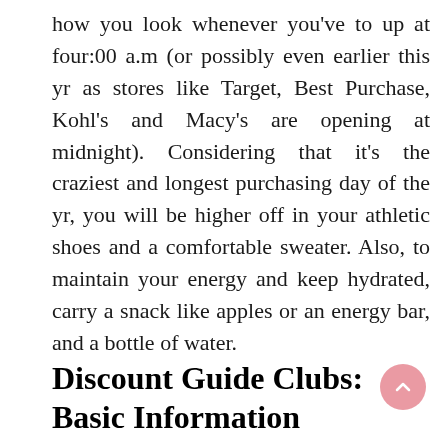how you look whenever you've to up at four:00 a.m (or possibly even earlier this yr as stores like Target, Best Purchase, Kohl's and Macy's are opening at midnight). Considering that it's the craziest and longest purchasing day of the yr, you will be higher off in your athletic shoes and a comfortable sweater. Also, to maintain your energy and keep hydrated, carry a snack like apples or an energy bar, and a bottle of water.
Discount Guide Clubs: Basic Information